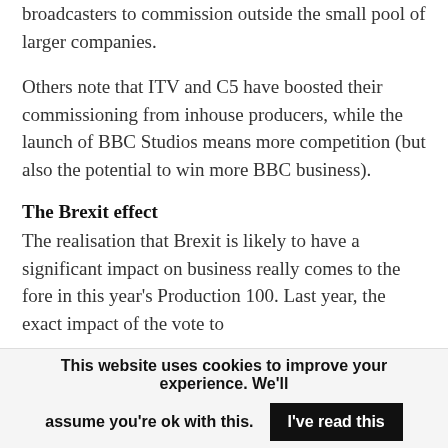broadcasters to commission outside the small pool of larger companies.
Others note that ITV and C5 have boosted their commissioning from inhouse producers, while the launch of BBC Studios means more competition (but also the potential to win more BBC business).
The Brexit effect
The realisation that Brexit is likely to have a significant impact on business really comes to the fore in this year's Production 100. Last year, the exact impact of the vote to
This website uses cookies to improve your experience. We'll assume you're ok with this.
I've read this